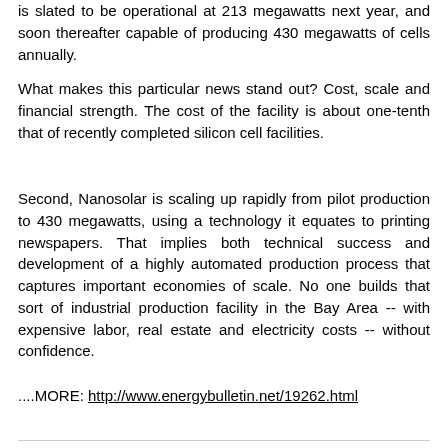is slated to be operational at 213 megawatts next year, and soon thereafter capable of producing 430 megawatts of cells annually.
What makes this particular news stand out? Cost, scale and financial strength. The cost of the facility is about one-tenth that of recently completed silicon cell facilities.
Second, Nanosolar is scaling up rapidly from pilot production to 430 megawatts, using a technology it equates to printing newspapers. That implies both technical success and development of a highly automated production process that captures important economies of scale. No one builds that sort of industrial production facility in the Bay Area -- with expensive labor, real estate and electricity costs -- without confidence.
....MORE: http://www.energybulletin.net/19262.html